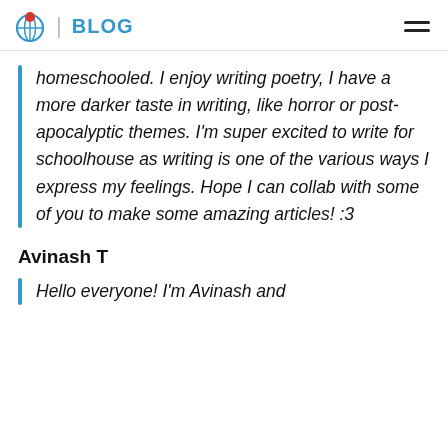BLOG
homeschooled. I enjoy writing poetry, I have a more darker taste in writing, like horror or post-apocalyptic themes. I'm super excited to write for schoolhouse as writing is one of the various ways I express my feelings. Hope I can collab with some of you to make some amazing articles! :3
Avinash T
Hello everyone! I'm Avinash and